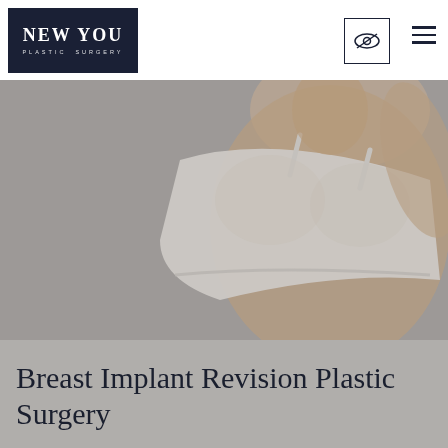[Figure (logo): New You Plastic Surgery logo — white text on dark navy background]
[Figure (photo): Close-up photo of a woman's torso wearing a white sports bra/crop top against a neutral grey background, suggesting a breast surgery context]
Breast Implant Revision Plastic Surgery